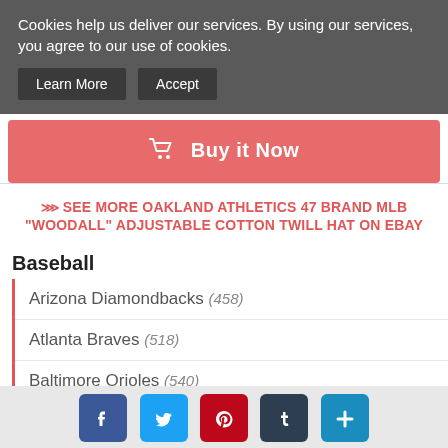Cookies help us deliver our services. By using our services, you agree to our use of cookies.
Learn More | Accept
Buy it Now
⋙ SEE MORE OAKLAND ATHLETICS 47 BRAND MLB "WOODALL" ADJUSTABLE COTTON TWILL HAT ON EBAY
Baseball
Arizona Diamondbacks (458)
Atlanta Braves (518)
Baltimore Orioles (540)
Boston Red Sox (562)
Chicago White Sox (661)
Facebook | Twitter | Pinterest | Tumblr | Share